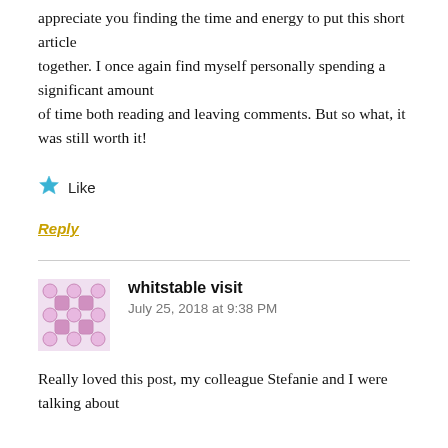appreciate you finding the time and energy to put this short article together. I once again find myself personally spending a significant amount of time both reading and leaving comments. But so what, it was still worth it!
★ Like
Reply
whitstable visit
July 25, 2018 at 9:38 PM
Really loved this post, my colleague Stefanie and I were talking about